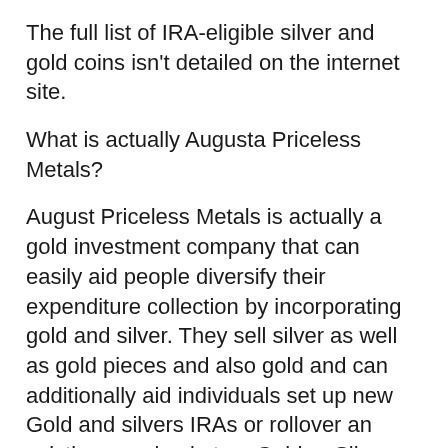The full list of IRA-eligible silver and gold coins isn't detailed on the internet site.
What is actually Augusta Priceless Metals?
August Priceless Metals is actually a gold investment company that can easily aid people diversify their expenditure collection by incorporating gold and silver. They sell silver as well as gold pieces and also gold and can additionally aid individuals set up new Gold and silvers IRAs or rollover an existing pension in to a Gold or Silver Individual Retirement Account.
Have you decided it is actually finally time to transform your portfolio by acquiring gold and silvers? Or even, possibly you have